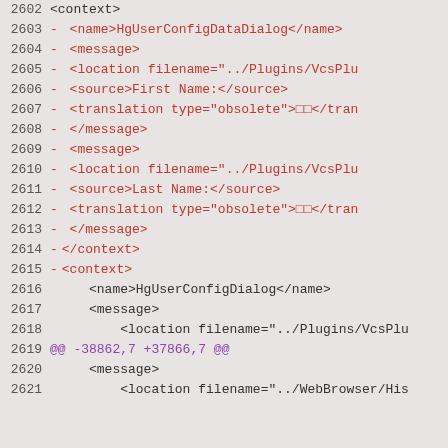2602    <context>
2603  -     <name>HgUserConfigDataDialog</name>
2604  -     <message>
2605  -         <location filename="../Plugins/VcsPlu
2606  -         <source>First Name:</source>
2607  -         <translation type="obsolete">□□</translation>
2608  -     </message>
2609  -     <message>
2610  -         <location filename="../Plugins/VcsPlu
2611  -         <source>Last Name:</source>
2612  -         <translation type="obsolete">□□</translation>
2613  -     </message>
2614  -</context>
2615  -<context>
2616      <name>HgUserConfigDialog</name>
2617      <message>
2618          <location filename="../Plugins/VcsPlu
2619  @@ -38862,7 +37866,7 @@
2620      <message>
2621          <location filename="../WebBrowser/His